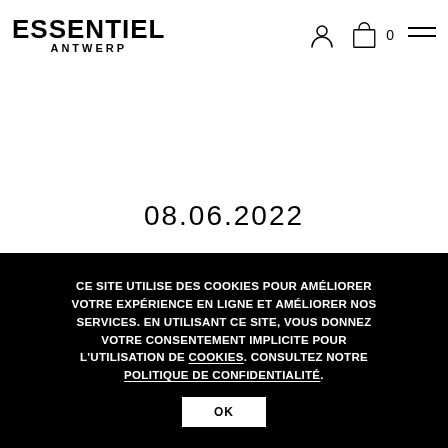ESSENTIEL ANTWERP
08.06.2022
THE PRIDE COLLECTION
CE SITE UTILISE DES COOKIES POUR AMÉLIORER VOTRE EXPÉRIENCE EN LIGNE ET AMÉLIORER NOS SERVICES. EN UTILISANT CE SITE, VOUS DONNEZ VOTRE CONSENTEMENT IMPLICITE POUR L'UTILISATION DE COOKIES. CONSULTEZ NOTRE POLITIQUE DE CONFIDENTIALITÉ.
OK